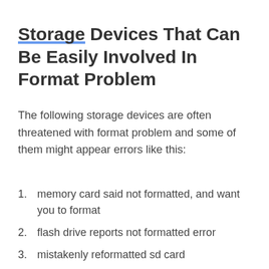Storage Devices That Can Be Easily Involved In Format Problem
The following storage devices are often threatened with format problem and some of them might appear errors like this:
memory card said not formatted, and want you to format
flash drive reports not formatted error
mistakenly reformatted sd card